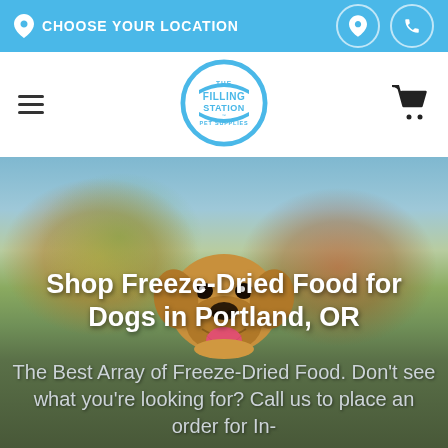CHOOSE YOUR LOCATION
[Figure (logo): The Filling Station Pet Supplies logo — blue shield/badge shape with text 'THE FILLING STATION PET SUPPLIES']
Shop Freeze-Dried Food for Dogs in Portland, OR
The Best Array of Freeze-Dried Food. Don't see what you're looking for? Call us to place an order for In-